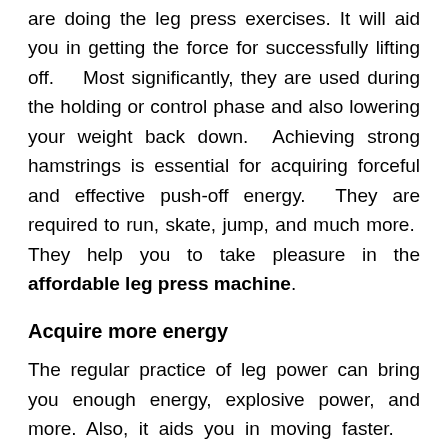are doing the leg press exercises. It will aid you in getting the force for successfully lifting off.    Most significantly, they are used during the holding or control phase and also lowering your weight back down.  Achieving strong hamstrings is essential for acquiring forceful and effective push-off energy.  They are required to run, skate, jump, and much more.  They help you to take pleasure in the affordable leg press machine.
Acquire more energy
The regular practice of leg power can bring you enough energy, explosive power, and more. Also, it aids you in moving faster.    When you have stronger hamstrings, you can get a chance to prevent pulled muscles and injuries. It is pleasing news for everyone that these machines are safer to use than remaining weight lifting activities.  These are the impressive